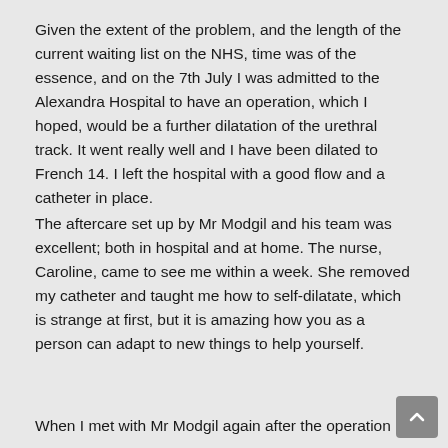Given the extent of the problem, and the length of the current waiting list on the NHS, time was of the essence, and on the 7th July I was admitted to the Alexandra Hospital to have an operation, which I hoped, would be a further dilatation of the urethral track. It went really well and I have been dilated to French 14. I left the hospital with a good flow and a catheter in place.
The aftercare set up by Mr Modgil and his team was excellent; both in hospital and at home. The nurse, Caroline, came to see me within a week. She removed my catheter and taught me how to self-dilatate, which is strange at first, but it is amazing how you as a person can adapt to new things to help yourself.
When I met with Mr Modgil again after the operation